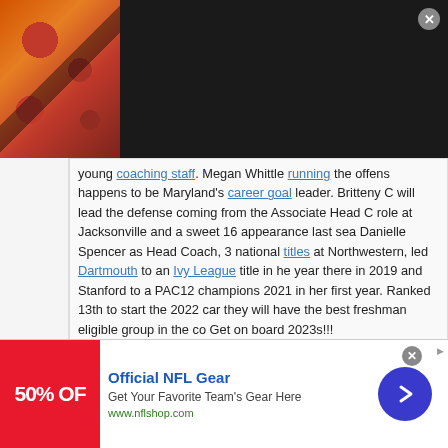[Figure (screenshot): Seamless food delivery advertisement banner with pizza image on left, red Seamless badge in center, and ORDER NOW button in white border box on dark background]
young coaching staff. Megan Whittle running the offens happens to be Maryland's career goal leader. Britteny C will lead the defense coming from the Associate Head C role at Jacksonville and a sweet 16 appearance last sea Danielle Spencer as Head Coach, 3 national titles at Northwestern, led Dartmouth to an Ivy League title in he year there in 2019 and Stanford to a PAC12 champions 2021 in her first year. Ranked 13th to start the 2022 car they will have the best freshman eligible group in the co Get on board 2023s!!!
Best '23s have committed elsewhere already, but good luck great coaching staff they have, just like many other teams. freshman class?? It doesn't make it true just because your
[Figure (screenshot): Official NFL Gear advertisement with red background showing 50% OFF text, NFL gear promotional content, and a blue circular arrow button]